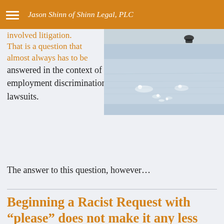Jason Shinn of Shinn Legal, PLC
involved litigation. That is a question that almost always has to be answered in the context of employment discrimination lawsuits.
[Figure (photo): Outdoor photo showing water surface with light reflections and a small dark figure (person in boat) visible at the top.]
The answer to this question, however...
Beginning a Racist Request with “please” does not make it any less Racist or Discriminatory Even if Asked for the Benefit of an